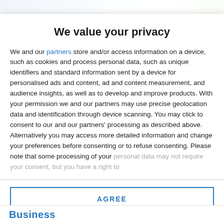[Figure (other): Top banner image showing a colorful header with blue, green, and white gradient colors, partially cropped]
We value your privacy
We and our partners store and/or access information on a device, such as cookies and process personal data, such as unique identifiers and standard information sent by a device for personalised ads and content, ad and content measurement, and audience insights, as well as to develop and improve products. With your permission we and our partners may use precise geolocation data and identification through device scanning. You may click to consent to our and our partners' processing as described above. Alternatively you may access more detailed information and change your preferences before consenting or to refuse consenting. Please note that some processing of your personal data may not require your consent, but you have a right to
AGREE
MORE OPTIONS
Business